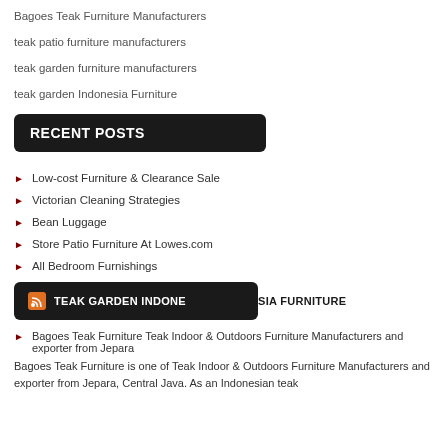Bagoes Teak Furniture Manufacturers
teak patio furniture manufacturers
teak garden furniture manufacturers
teak garden Indonesia Furniture
RECENT POSTS
Low-cost Furniture & Clearance Sale
Victorian Cleaning Strategies
Bean Luggage
Store Patio Furniture At Lowes.com
All Bedroom Furnishings
TEAK GARDEN INDONESIA FURNITURE
Bagoes Teak Furniture Teak Indoor & Outdoors Furniture Manufacturers and exporter from Jepara
Bagoes Teak Furniture is one of Teak Indoor & Outdoors Furniture Manufacturers and exporter from Jepara, Central Java. As an Indonesian teak